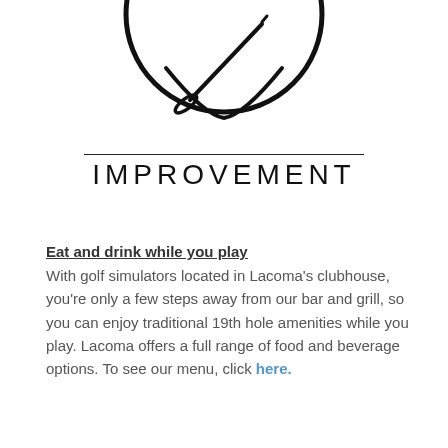[Figure (logo): Circular logo icon showing a bowl with a golf club/stick, partially cropped at top. Below the circle is a horizontal rule and the word IMPROVEMENT in spaced capital letters.]
Eat and drink while you play
With golf simulators located in Lacoma's clubhouse, you're only a few steps away from our bar and grill, so you can enjoy traditional 19th hole amenities while you play. Lacoma offers a full range of food and beverage options. To see our menu, click here.